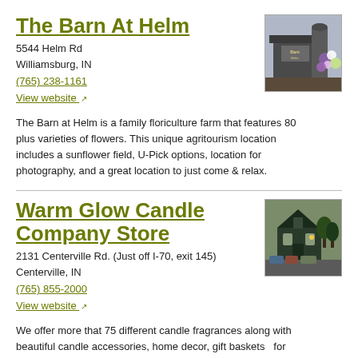The Barn At Helm
5544 Helm Rd
Williamsburg, IN
(765) 238-1161
View website
[Figure (photo): Photo of The Barn At Helm showing flowers and a barn sign]
The Barn at Helm is a family floriculture farm that features 80 plus varieties of flowers. This unique agritourism location includes a sunflower field, U-Pick options, location for photography, and a great location to just come & relax.
Warm Glow Candle Company Store
2131 Centerville Rd. (Just off I-70, exit 145)
Centerville, IN
(765) 855-2000
View website
[Figure (photo): Photo of Warm Glow Candle Company Store exterior showing a building with cars parked outside]
We offer more that 75 different candle fragrances along with beautiful candle accessories, home decor, gift baskets  for every occasion, lawn and patio items, bath and body  products, and so much more. Stop in today and save 25% off our candle of the month.